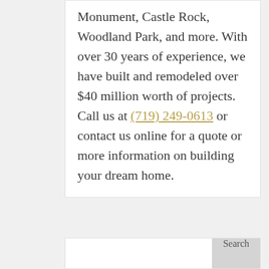Monument, Castle Rock, Woodland Park, and more. With over 30 years of experience, we have built and remodeled over $40 million worth of projects. Call us at (719) 249-0613 or contact us online for a quote or more information on building your dream home.
Search